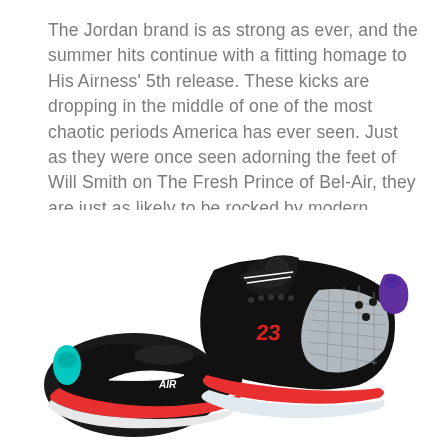The Jordan brand is as strong as ever, and the summer hits continue with a fitting homage to His Airness' 5th release. These kicks are dropping in the middle of one of the most chaotic periods America has ever seen. Just as they were once seen adorning the feet of Will Smith on The Fresh Prince of Bel-Air, they are just as likely to be rocked by modern revolutionaries.
[Figure (photo): Air Jordan 5 Retro sneakers in black with teal, purple, and red accents. Two shoes are shown — one upright showing the side profile with the number 23 in red, silver mesh panel, and reflective tongue, and one laying on its side showing the Nike Air logo on the heel and a teal pull tab. The sole features a red midsole and white outsole.]